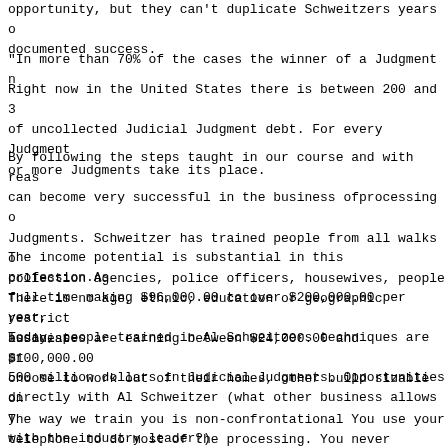opportunity, but they can't duplicate Schweitzers years of documented success.
"In more than 70% of the cases the winner of a Judgment n
Right now in the United States there is between 200 and 3 of uncollected Judicial Judgment debt. For every Judgment or more Judgments take its place.
By following the steps taught in our course and with reas can become very successful in the business ofprocessing o Judgments. Schweitzer has trained people from all walks o collection agencies, police officers, housewives, people There is no age, ethnic, education or geographic restrict business.
The income potential is substantial in this profession.As full time making $96,000.00 to over $200,000.00 per year, associates are earning between $24,000.00 and $100,000.00 choose to work out of their homes, other build sizable on
Today, people trained in Al Schweitzers techniques are pr 500 million dollars in Judicial Judgments. Opportunities directly with Al Schweitzer (what other business allows y with the industry leader?)
The way we train you is non-confrontational You use your telephone to do most of the processing. You never confron The debtor doesn't know who you are. You are not a colle
Sketch of summary of next steps...